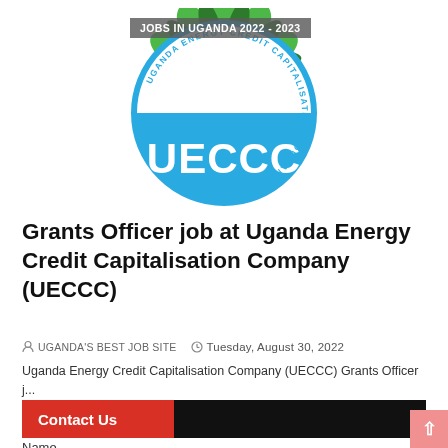[Figure (logo): UECCC (Uganda Energy Credit Capitalisation Company) logo — circular badge with green top (leaves pattern) and blue half-circle bottom with white 'UECCC' text, surrounded by circular text reading 'UGANDA ENERGY CREDIT CAPITALISATION COMPANY']
Grants Officer job at Uganda Energy Credit Capitalisation Company (UECCC)
UGANDA'S BEST JOB SITE   Tuesday, August 30, 2022
Uganda Energy Credit Capitalisation Company (UECCC) Grants Officer j...
Contact Us
Name